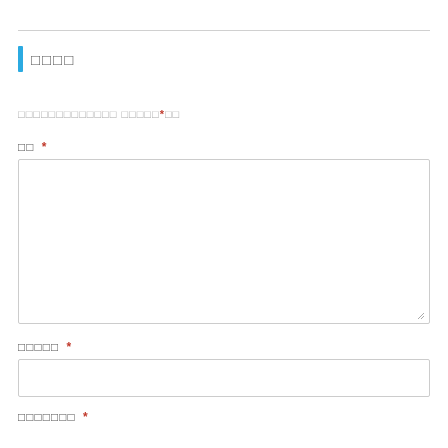□□□□
□□□□□□□□□□□□□ □□□□□*□□
□□ *
[Figure (other): Large textarea input field with resize handle]
□□□□□ *
[Figure (other): Single-line text input field]
□□□□□□□ *